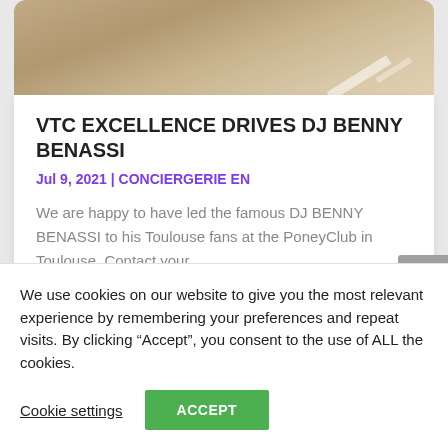[Figure (photo): Partial view of a car interior or floor, sandy/beige tones with a white stripe, cropped at top of card]
VTC EXCELLENCE DRIVES DJ BENNY BENASSI
Jul 9, 2021 | CONCIERGERIE EN
We are happy to have led the famous DJ BENNY BENASSI to his Toulouse fans at the PoneyClub in Toulouse. Contact your...
We use cookies on our website to give you the most relevant experience by remembering your preferences and repeat visits. By clicking “Accept”, you consent to the use of ALL the cookies.
Cookie settings
ACCEPT